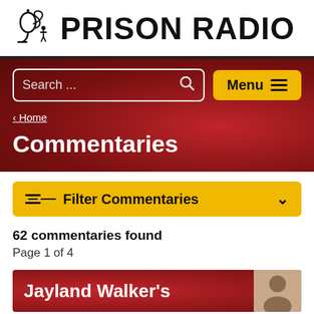[Figure (logo): Prison Radio logo with microphone icon and bold text 'PRISON RADIO']
[Figure (screenshot): Red banner with search bar reading 'Search ...' and a yellow 'Menu' button with hamburger icon]
< Home
Commentaries
Filter Commentaries
62 commentaries found
Page 1 of 4
Jayland Walker's